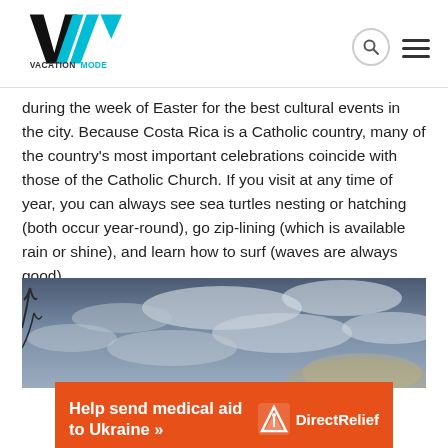VACATIONMODE
during the week of Easter for the best cultural events in the city. Because Costa Rica is a Catholic country, many of the country's most important celebrations coincide with those of the Catholic Church. If you visit at any time of year, you can always see sea turtles nesting or hatching (both occur year-round), go zip-lining (which is available rain or shine), and learn how to surf (waves are always good).
[Figure (photo): Cloudy dramatic sky with tree branches visible, wide landscape photo]
[Figure (infographic): Orange advertisement banner: Help send medical aid to Ukraine >> with Direct Relief logo]